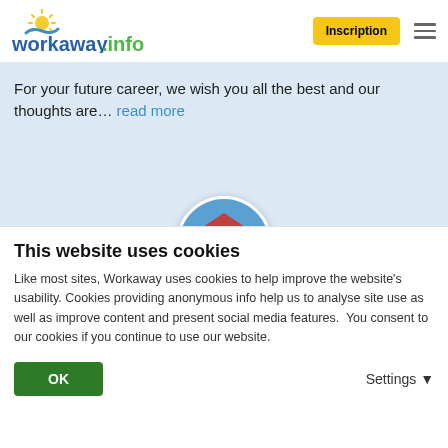workaway.info | Inscription
For your future career, we wish you all the best and our thoughts are... read more
[Figure (photo): Circular profile photo of a white building with a red roof reflected in water, surrounded by trees]
★★★★★ (Excellent)
25.09.2014
Laissé par le workawayer (Marta) pour l'hôte
I was there two weeks and I need to say to you thanks for
This website uses cookies
Like most sites, Workaway uses cookies to help improve the website's usability. Cookies providing anonymous info help us to analyse site use as well as improve content and present social media features.  You consent to our cookies if you continue to use our website.
OK | Settings